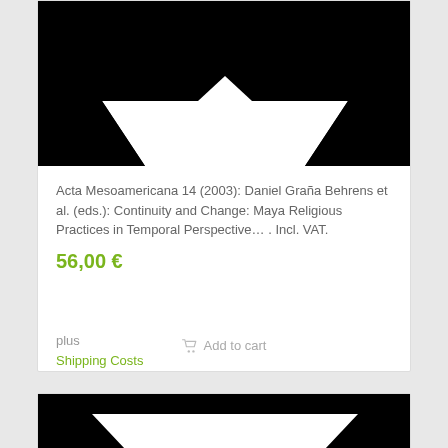[Figure (illustration): Book product card with black book cover image at top showing a trapezoid/open-book shape in white]
Acta Mesoamericana 14 (2003): Daniel Graña Behrens et al. (eds.): Continuity and Change: Maya Religious Practices in Temporal Perspective… . Incl. VAT.
56,00 €
plus
Shipping Costs
Add to cart
[Figure (illustration): Second book product card with black book cover image, partially visible at bottom of page]